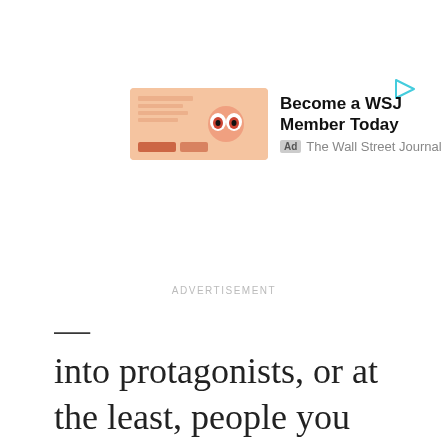[Figure (screenshot): WSJ advertisement banner with salmon/peach colored image showing stylized eyes graphic, headline 'Become a WSJ Member Today', Ad badge and 'The Wall Street Journal' source label]
ADVERTISEMENT
into protagonists, or at the least, people you could root for?
ADVERTISEMENT